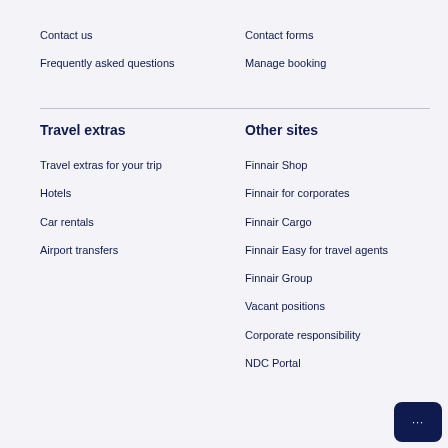Contact us
Contact forms
Frequently asked questions
Manage booking
Travel extras
Other sites
Travel extras for your trip
Finnair Shop
Hotels
Finnair for corporates
Car rentals
Finnair Cargo
Airport transfers
Finnair Easy for travel agents
Finnair Group
Vacant positions
Corporate responsibility
NDC Portal